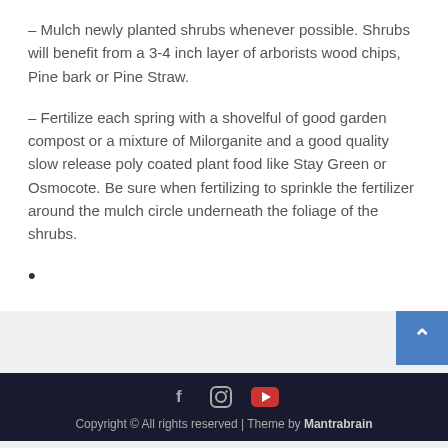– Mulch newly planted shrubs whenever possible. Shrubs will benefit from a 3-4 inch layer of arborists wood chips, Pine bark or Pine Straw.
– Fertilize each spring with a shovelful of good garden compost or a mixture of Milorganite and a good quality slow release poly coated plant food like Stay Green or Osmocote. Be sure when fertilizing to sprinkle the fertilizer around the mulch circle underneath the foliage of the shrubs.
•
Copyright © All rights reserved | Theme by Mantrabrain